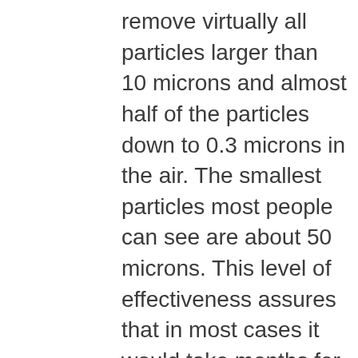remove virtually all particles larger than 10 microns and almost half of the particles down to 0.3 microns in the air. The smallest particles most people can see are about 50 microns. This level of effectiveness assures that in most cases it would take months for enough dust to accumulate to create an insulating blanket that could overheat a motor or an electric box.
Originally developed to work in harsh environments such as steel, mining and fertilizer plants, the Air